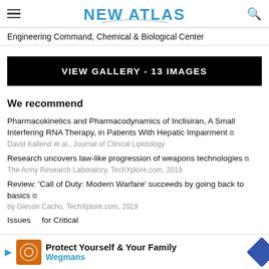NEW ATLAS
Engineering Command, Chemical & Biological Center
[Figure (other): Black banner button with white uppercase text: VIEW GALLERY - 13 IMAGES]
We recommend
Pharmacokinetics and Pharmacodynamics of Inclisiran, A Small Interfering RNA Therapy, in Patients With Hepatic Impairment — David Kallend et al., Journal of Clinical Lipidology
Research uncovers law-like progression of weapons technologies — The Army Research Laboratory, TechXplore.com, 2019
Review: 'Call of Duty: Modern Warfare' succeeds by going back to basics — by Gieson Cacho, TechXplore.com, 2019
Issues ... for Critical
[Figure (other): Advertisement banner: Protect Yourself & Your Family, Wegmans, with orange logo and blue diamond icon]